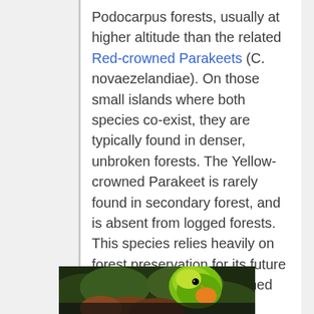Podocarpus forests, usually at higher altitude than the related Red-crowned Parakeets (C. novaezelandiae). On those small islands where both species co-exist, they are typically found in denser, unbroken forests. The Yellow-crowned Parakeet is rarely found in secondary forest, and is absent from logged forests. This species relies heavily on forest preservation for its future survival. The Yellow-crowned Parakeet is still found in moderate numbers, but only in the largest and least disturbed forest tracts.
[Figure (photo): Partial photo of a Yellow-crowned Parakeet (green parrot) visible at the bottom of the page, cropped.]